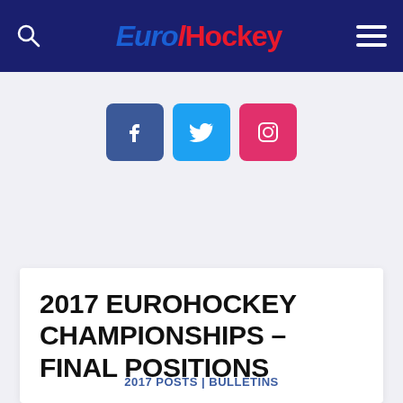EuroHockey
[Figure (other): Social media icons: Facebook (blue square), Twitter (light blue square), Instagram (pink/red square)]
2017 EUROHOCKEY CHAMPIONSHIPS – FINAL POSITIONS
2017 POSTS | BULLETINS